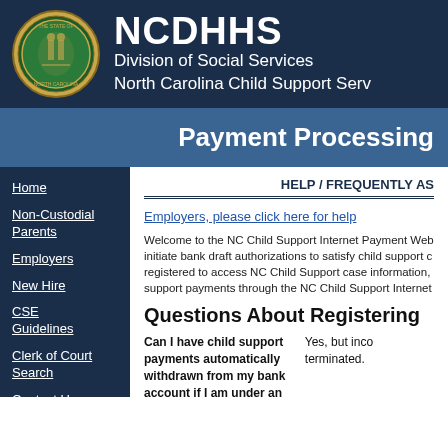NCDHHS Division of Social Services North Carolina Child Support Services
Payment Processing
Home
Non-Custodial Parents
Employers
New Hire
CSE Guidelines
Clerk of Court Search
Contact Us
Case/Financial
HELP / FREQUENTLY AS
Employers, please click here for help
Welcome to the NC Child Support Internet Payment Web initiate bank draft authorizations to satisfy child support c registered to access NC Child Support case information, support payments through the NC Child Support Internet
Questions About Registering
Can I have child support payments automatically withdrawn from my bank account if I am under an Income Withholding Order?
Yes, but inco terminated.
If I elect to have child support
Yes, however